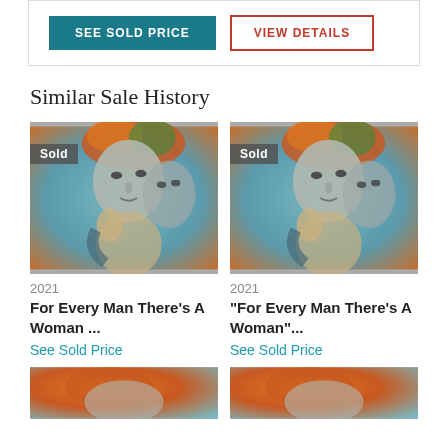SEE SOLD PRICE | VIEW DETAILS
Similar Sale History
[Figure (photo): Painting of a woman with colorful hair, sold badge overlay, year 2021]
2021
For Every Man There's A Woman ...
See Sold Price
[Figure (photo): Painting of a woman with colorful hair, sold badge overlay, year 2021]
2021
"For Every Man There's A Woman"...
See Sold Price
[Figure (photo): Bottom row partial painting thumbnail left]
[Figure (photo): Bottom row partial painting thumbnail right]